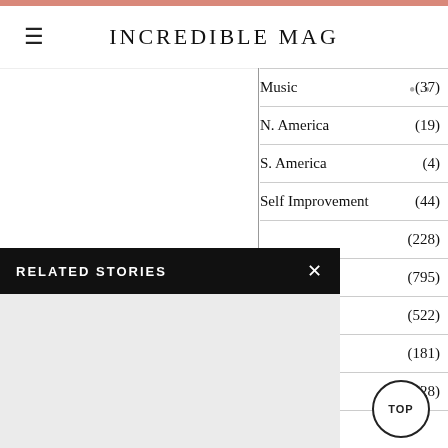INCREDIBLE MAG
Music (37)
N. America (19)
S. America (4)
Self Improvement (44)
(228)
(795)
(522)
Guides (181)
Reviews (28)
RELATED STORIES
English